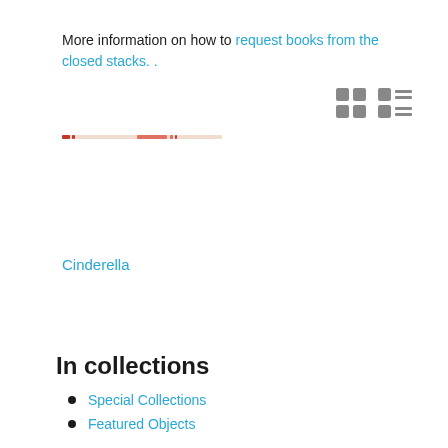More information on how to request books from the closed stacks. .
[Figure (screenshot): View toggle icons: grid view (four squares) and list view (lines with squares) in gray]
[Figure (other): A horizontal book spine image — thin reddish-orange and salmon colored bar on white background]
Cinderella
In collections
Special Collections
Featured Objects